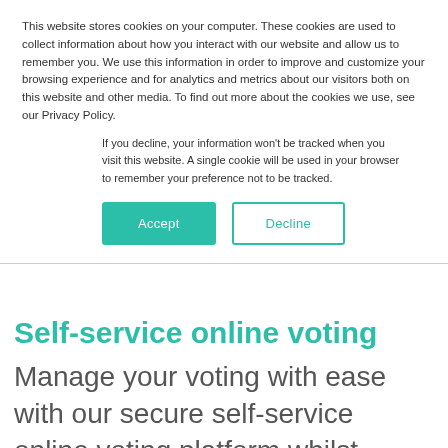This website stores cookies on your computer. These cookies are used to collect information about how you interact with our website and allow us to remember you. We use this information in order to improve and customize your browsing experience and for analytics and metrics about our visitors both on this website and other media. To find out more about the cookies we use, see our Privacy Policy.
If you decline, your information won't be tracked when you visit this website. A single cookie will be used in your browser to remember your preference not to be tracked.
Accept | Decline
Self-service online voting
Manage your voting with ease with our secure self-service online voting platform whilst keeping your costs to a